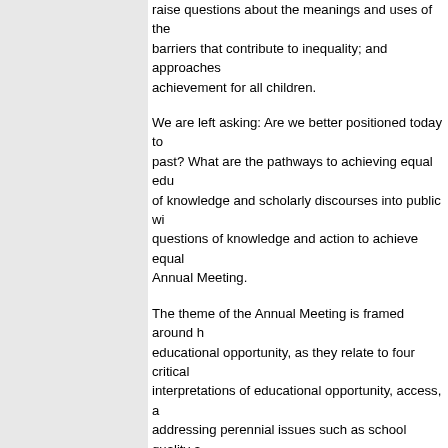raise questions about the meanings and uses of the barriers that contribute to inequality; and approaches achievement for all children.
We are left asking: Are we better positioned today to past? What are the pathways to achieving equal edu of knowledge and scholarly discourses into public wi questions of knowledge and action to achieve equal Annual Meeting.
The theme of the Annual Meeting is framed around h educational opportunity, as they relate to four critical interpretations of educational opportunity, access, a addressing perennial issues such as school quality a schools. The second poses questions about whether and the methods used to study them are conceptuali circumstances that countless children, families, and third reinforces the need for interdisciplinary researc other fields invested in eradicating social disparities The fourth underscores possibilities for linking educa both longstanding educational issues, such as teach increasingly visible problems such as homelessness to thrive.
As we begin AERA's second century, the theme of th